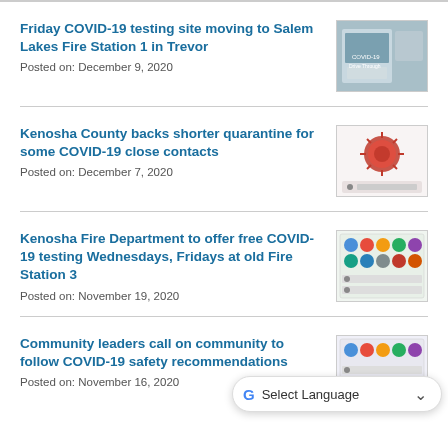Friday COVID-19 testing site moving to Salem Lakes Fire Station 1 in Trevor
Posted on: December 9, 2020
[Figure (photo): Photo of a COVID-19 testing site sign or bag]
Kenosha County backs shorter quarantine for some COVID-19 close contacts
Posted on: December 7, 2020
[Figure (photo): Image of a coronavirus particle with text about quarantine protocols]
Kenosha Fire Department to offer free COVID-19 testing Wednesdays, Fridays at old Fire Station 3
Posted on: November 19, 2020
[Figure (photo): Logos of various organizations involved in COVID-19 information relay]
Community leaders call on community to follow COVID-19 safety recommendations
Posted on: November 16, 2020
[Figure (photo): Another organizational logos image related to COVID-19 information]